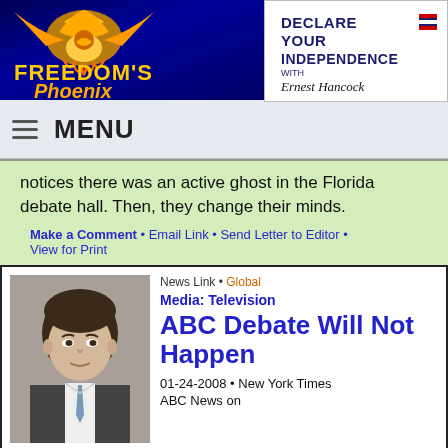[Figure (logo): Freedom's Phoenix logo with golden eagle/phoenix on dark blue background]
[Figure (logo): Declare Your Independence with Ernest Hancock logo]
MENU
notices there was an active ghost in the Florida debate hall. Then, they change their minds.
Make a Comment • Email Link • Send Letter to Editor • View for Print
[Figure (photo): Photo of a man in a suit with dark hair]
News Link • Global
Media: Television
ABC Debate Will Not Happen
01-24-2008 • New York Times
ABC News on Wednesday scrapped plans for a three-person Republican presidential candidate debate, citing scheduling conflicts between John McCain, Mitt